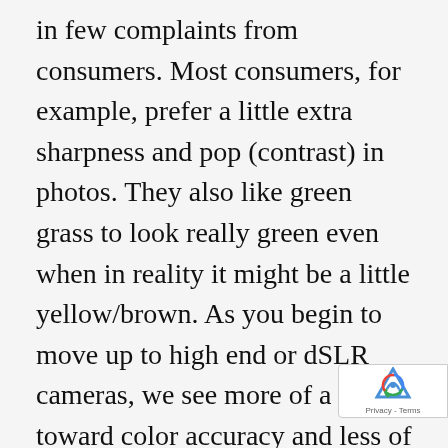in few complaints from consumers. Most consumers, for example, prefer a little extra sharpness and pop (contrast) in photos. They also like green grass to look really green even when in reality it might be a little yellow/brown. As you begin to move up to high end or dSLR cameras, we see more of a shift toward color accuracy and less of that extra “pop”, but there is often still a balance between accuracy and that “wow” factor of a photo that really leaps off the paper.” Steve’s Digicams – Tech Corner – June 2006 [button color=”green” size=”medium” align=”center” link=”https://www.artis